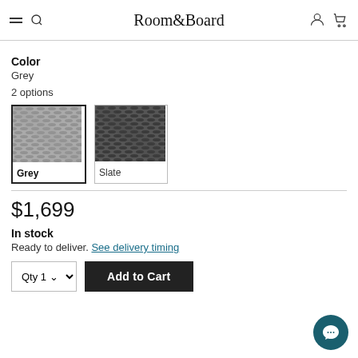Room&Board
Color
Grey
2 options
[Figure (photo): Two fabric color swatches: Grey (selected, with border) and Slate. Both show a woven/textured fabric pattern.]
$1,699
In stock
Ready to deliver. See delivery timing
Qty 1  Add to Cart